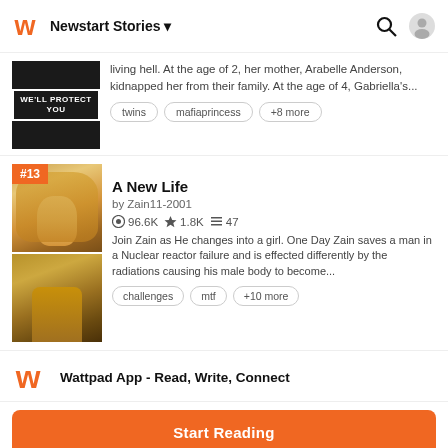Newstart Stories
living hell. At the age of 2, her mother, Arabelle Anderson, kidnapped her from their family. At the age of 4, Gabriella's...
twins   mafiaprincess   +8 more
A New Life
by Zain11-2001
96.6K ★1.8K ≡47
Join Zain as He changes into a girl. One Day Zain saves a man in a Nuclear reactor failure and is effected differently by the radiations causing his male body to become...
challenges   mtf   +10 more
Wattpad App - Read, Write, Connect
Start Reading
Log in with Browser